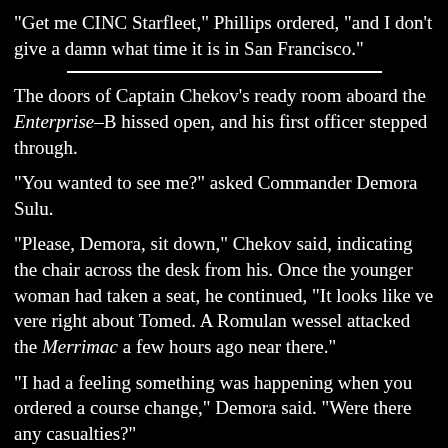"Get me CINC Starfleet," Phillips ordered, "and I don't give a damn what time it is in San Francisco."
The doors of Captain Chekov's ready room aboard the Enterprise-B hissed open, and his first officer stepped through.
"You wanted to see me?" asked Commander Demora Sulu.
"Please, Demora, sit down," Chekov said, indicating the chair across the desk from his. Once the younger woman had taken a seat, he continued, "It looks like ve vere right about Tomed. A Romulan wessel attacked the Merrimac a few hours ago near there."
"I had a feeling something was happening when you ordered a course change," Demora said. "Were there any casualties?"